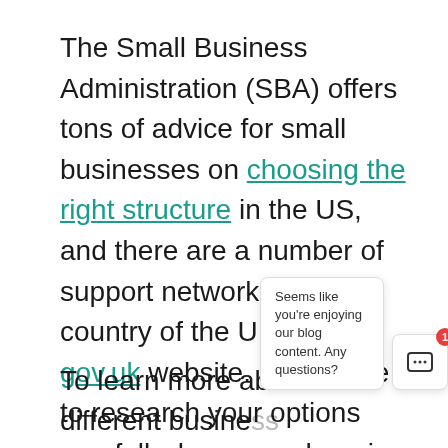The Small Business Administration (SBA) offers tons of advice for small businesses on choosing the right structure in the US, and there are a number of support networks for each country of the UK on the gov.uk website. Make sure to research your options carefully, because changing your structure later, while possible, can be a hassle.
Once you decide on a legal structure, look for a registered agent and register your business with state agencies or Companies House in the UK, if applicable.
To learn more about different business...